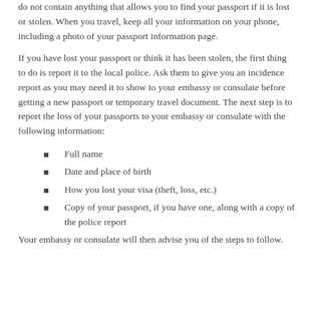do not contain anything that allows you to find your passport if it is lost or stolen. When you travel, keep all your information on your phone, including a photo of your passport information page.
If you have lost your passport or think it has been stolen, the first thing to do is report it to the local police. Ask them to give you an incidence report as you may need it to show to your embassy or consulate before getting a new passport or temporary travel document. The next step is to report the loss of your passports to your embassy or consulate with the following information:
Full name
Date and place of birth
How you lost your visa (theft, loss, etc.)
Copy of your passport, if you have one, along with a copy of the police report
Your embassy or consulate will then advise you of the steps to follow.